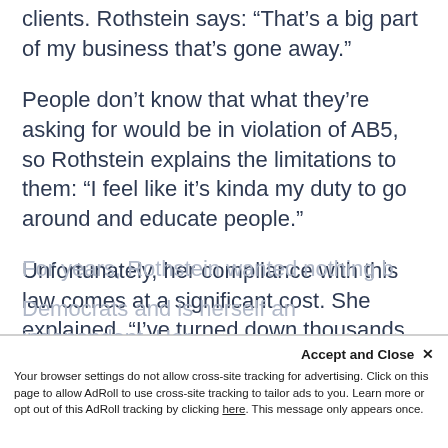clients. Rothstein says: “That’s a big part of my business that’s gone away.”
People don’t know that what they’re asking for would be in violation of AB5, so Rothstein explains the limitations to them: “I feel like it’s kinda my duty to go around and educate people.”
Unfortunately, her compliance with this law comes at a significant cost. She explained, “I’ve turned down thousands of dollars of work because I don’t want to get people in trouble.”
For years, Rothstein wanted nothing b...
Democrats and is herself an independent. Her...
Accept and Close ×
Your browser settings do not allow cross-site tracking for advertising. Click on this page to allow AdRoll to use cross-site tracking to tailor ads to you. Learn more or opt out of this AdRoll tracking by clicking here. This message only appears once.